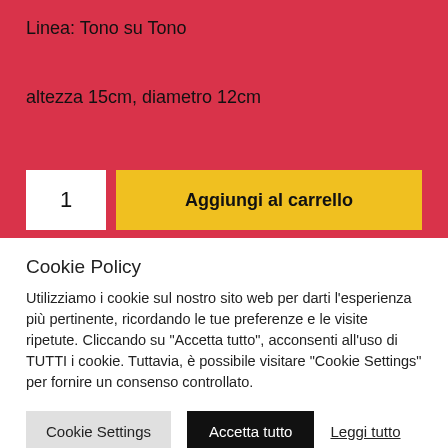Linea: Tono su Tono
altezza 15cm, diametro 12cm
1
Aggiungi al carrello
Cookie Policy
Utilizziamo i cookie sul nostro sito web per darti l'esperienza più pertinente, ricordando le tue preferenze e le visite ripetute. Cliccando su "Accetta tutto", acconsenti all'uso di TUTTI i cookie. Tuttavia, è possibile visitare "Cookie Settings" per fornire un consenso controllato.
Cookie Settings
Accetta tutto
Leggi tutto